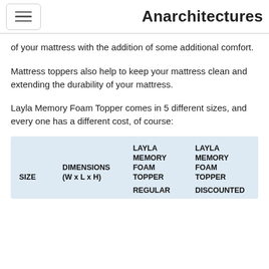Anarchitectures
of your mattress with the addition of some additional comfort.
Mattress toppers also help to keep your mattress clean and extending the durability of your mattress.
Layla Memory Foam Topper comes in 5 different sizes, and every one has a different cost, of course:
| SIZE | DIMENSIONS (W x L x H) | LAYLA MEMORY FOAM TOPPER REGULAR | LAYLA MEMORY FOAM TOPPER DISCOUNTED |
| --- | --- | --- | --- |